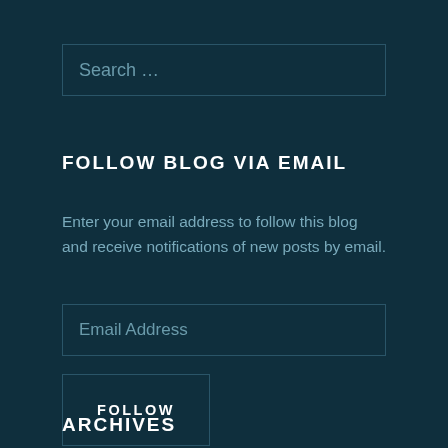Search …
FOLLOW BLOG VIA EMAIL
Enter your email address to follow this blog and receive notifications of new posts by email.
Email Address
FOLLOW
ARCHIVES